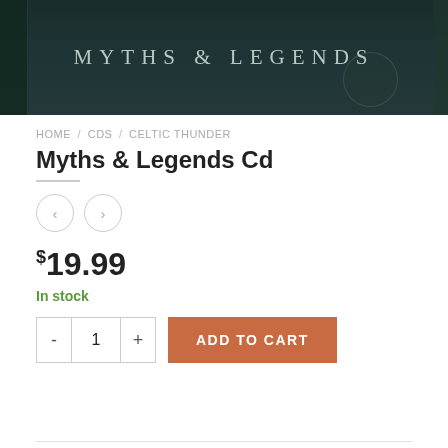[Figure (photo): Product image showing a CD case with 'Myths & Legends' text on a dark teal/black background with decorative elements]
HOME / CDS / CELTIC THUNDER
Myths & Legends Cd
$19.99
In stock
ADD TO CART
SKU: CD-00-88875136972